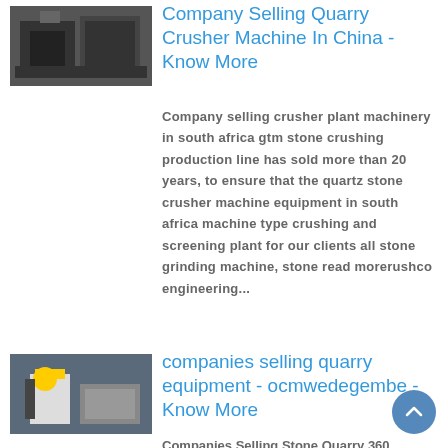[Figure (photo): Thumbnail image of quarry crusher machine equipment]
Company Selling Quarry Crusher Machine In China - Know More
Company selling crusher plant machinery in south africa gtm stone crushing production line has sold more than 20 years, to ensure that the quartz stone crusher machine equipment in south africa machine type crushing and screening plant for our clients all stone grinding machine, stone read morerushco engineering...
[Figure (photo): Thumbnail image of workers with quarry equipment]
companies selling quarry equipment - ocmwedegembe - Know More
Companies Selling Stone Quarry 360